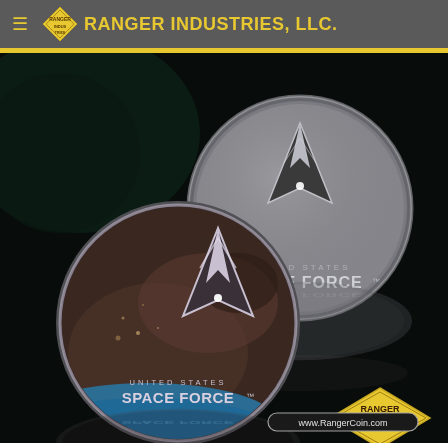RANGER INDUSTRIES, LLC.
[Figure (photo): Two United States Space Force challenge coins shown front and back. The top coin shows the USSF delta logo on a grey background with 'UNITED STATES SPACE FORCE' text. The bottom coin shows the same delta logo over a Mars/earth landscape with 'UNITED STATES SPACE FORCE' text. Both coins have silver rims and are reflected below. The Ranger Industries logo (gold diamond) and website www.RangerCoin.com appear in the bottom right corner.]